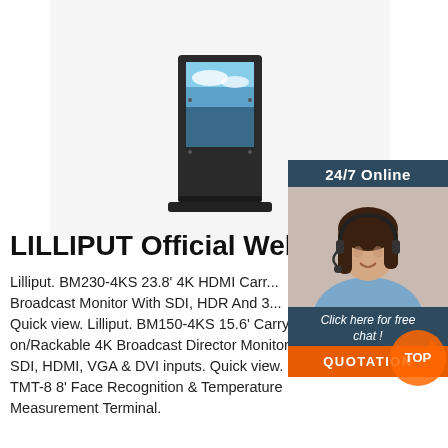[Figure (photo): Lilliput outdoor digital signage kiosk with display screen showing sky/clouds image, on white background]
[Figure (photo): 24/7 online chat widget with photo of woman wearing headset, dark blue background, orange QUOTATION button]
LILLIPUT Official Webs
Lilliput. BM230-4KS 23.8' 4K HDMI Carry-on Broadcast Monitor With SDI, HDR And 3... Quick view. Lilliput. BM150-4KS 15.6' Carry-on/Rackable 4K Broadcast Director Monitor with SDI, HDMI, VGA & DVI inputs. Quick view. Lilliput. TMT-8 8' Face Recognition & Temperature Measurement Terminal.